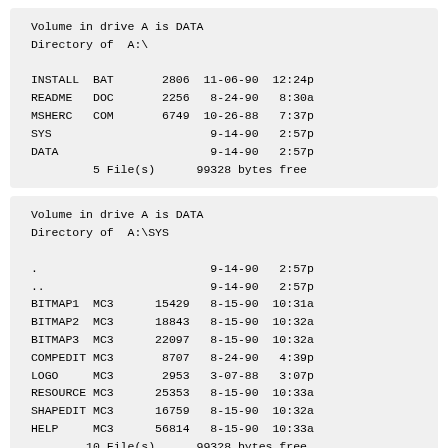| Name | Ext | Size | Date | Time |
| --- | --- | --- | --- | --- |
| Volume in drive A is DATA |  |  |  |  |
| Directory of  A:\ |  |  |  |  |
| INSTALL | BAT | 2806 | 11-06-90 | 12:24p |
| README | DOC | 2256 | 8-24-90 | 8:30a |
| MSHERC | COM | 6749 | 10-26-88 | 7:37p |
| SYS |  |  | 9-14-90 | 2:57p |
| DATA |  |  | 9-14-90 | 2:57p |
|  | 5 File(s) |  | 99328 bytes free |  |
| Name | Ext | Size | Date | Time |
| --- | --- | --- | --- | --- |
| Volume in drive A is DATA |  |  |  |  |
| Directory of  A:\SYS |  |  |  |  |
| . |  |  | 9-14-90 | 2:57p |
| .. |  |  | 9-14-90 | 2:57p |
| BITMAP1 | MC3 | 15429 | 8-15-90 | 10:31a |
| BITMAP2 | MC3 | 18843 | 8-15-90 | 10:32a |
| BITMAP3 | MC3 | 22097 | 8-15-90 | 10:32a |
| COMPEDIT | MC3 | 8707 | 8-24-90 | 4:39p |
| LOGO | MC3 | 2953 | 3-07-88 | 3:07p |
| RESOURCE | MC3 | 25353 | 8-15-90 | 10:33a |
| SHAPEDIT | MC3 | 16759 | 8-15-90 | 10:32a |
| HELP | MC3 | 56814 | 8-15-90 | 10:33a |
|  | 10 File(s) |  | 99328 bytes free |  |